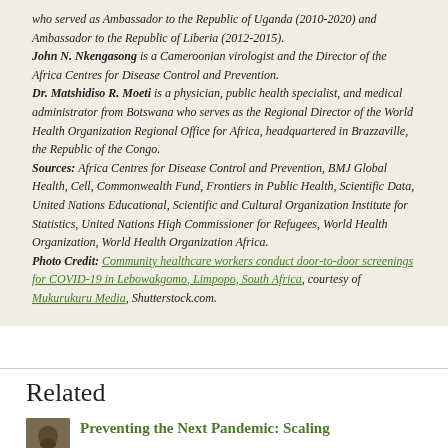who served as Ambassador to the Republic of Uganda (2010-2020) and Ambassador to the Republic of Liberia (2012-2015).
John N. Nkengasong is a Cameroonian virologist and the Director of the Africa Centres for Disease Control and Prevention.
Dr. Matshidiso R. Moeti is a physician, public health specialist, and medical administrator from Botswana who serves as the Regional Director of the World Health Organization Regional Office for Africa, headquartered in Brazzaville, the Republic of the Congo.
Sources: Africa Centres for Disease Control and Prevention, BMJ Global Health, Cell, Commonwealth Fund, Frontiers in Public Health, Scientific Data, United Nations Educational, Scientific and Cultural Organization Institute for Statistics, United Nations High Commissioner for Refugees, World Health Organization, World Health Organization Africa.
Photo Credit: Community healthcare workers conduct door-to-door screenings for COVID-19 in Lebowakgomo, Limpopo, South Africa, courtesy of Mukurukuru Media, Shutterstock.com.
Related
Preventing the Next Pandemic: Scaling